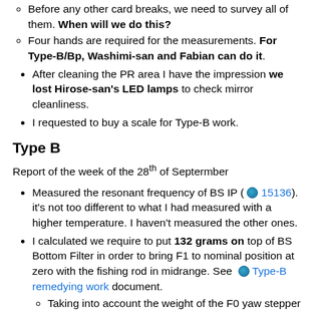Before any other card breaks, we need to survey all of them. When will we do this?
Four hands are required for the measurements. For Type-B/Bp, Washimi-san and Fabian can do it.
After cleaning the PR area I have the impression we lost Hirose-san's LED lamps to check mirror cleanliness.
I requested to buy a scale for Type-B work.
Type B
Report of the week of the 28th of Septermber
Measured the resonant frequency of BS IP ( [link] 15136). it's not too different to what I had measured with a higher temperature. I haven't measured the other ones.
I calculated we require to put 132 grams on top of BS Bottom Filter in order to bring F1 to nominal position at zero with the fishing rod in midrange. See [link] Type-B remedying work document.
Taking into account the weight of the F0 yaw stepper motor (330 grams) that we need to